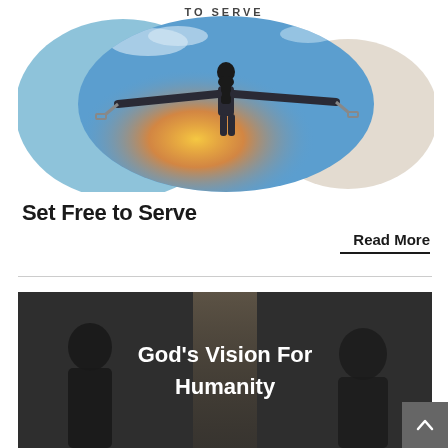TO SERVE
[Figure (photo): Person with arms outstretched against a sunset sky with broken chains, shown in a circular crop with blue and beige decorative circles behind]
Set Free to Serve
Read More
[Figure (photo): Dark indoor scene with a person silhouetted, overlaid with bold white text reading 'God's Vision For Humanity']